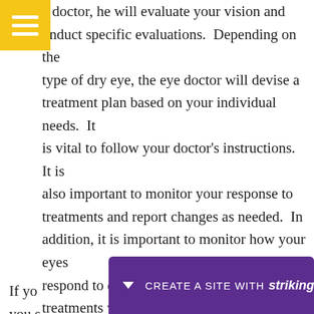[Figure (other): Yellow hamburger menu button in top-left corner]
e doctor, he will evaluate your vision and onduct specific evaluations. Depending on the type of dry eye, the eye doctor will devise a treatment plan based on your individual needs. It is vital to follow your doctor's instructions. It is also important to monitor your response to treatments and report changes as needed. In addition, it is important to monitor how your eyes respond to each treatment, since different treatments will produce different results. This website has detailed info about the top eye doctor to choose.
If yo ye, you s n-
[Figure (other): Strikingly website creation banner with purple background reading CREATE A SITE WITH strikingly]